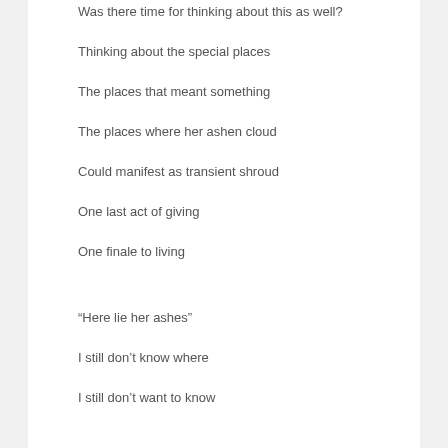Was there time for thinking about this as well?
Thinking about the special places
The places that meant something
The places where her ashen cloud
Could manifest as transient shroud
One last act of giving
One finale to living
“Here lie her ashes”
I still don’t know where
I still don’t want to know